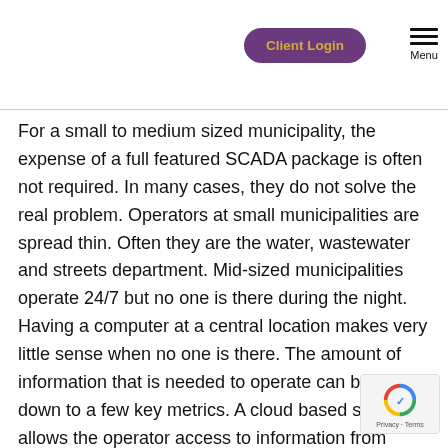Client Login  Menu
For a small to medium sized municipality, the expense of a full featured SCADA package is often not required. In many cases, they do not solve the real problem. Operators at small municipalities are spread thin. Often they are the water, wastewater and streets department. Mid-sized municipalities operate 24/7 but no one is there during the night. Having a computer at a central location makes very little sense when no one is there. The amount of information that is needed to operate can be boiled down to a few key metrics. A cloud based solution allows the operator access to information from anywhere at any time. (see Case study-Replacing SCADA)